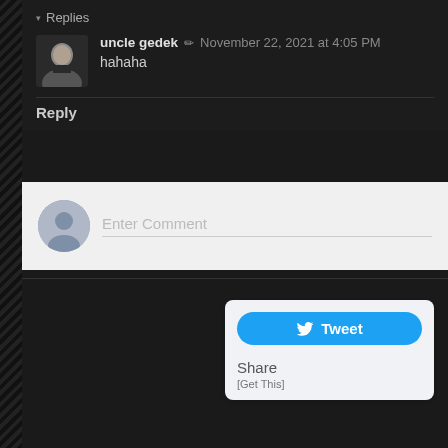▾ Replies
uncle gedek ✏ November 22, 2021 at 4:05 PM
hahaha
Reply
Enter Comment
[Figure (infographic): Tweet button widget with Twitter bird icon, Share label, and [Get This] link]
Tweet
Share
[Get This]